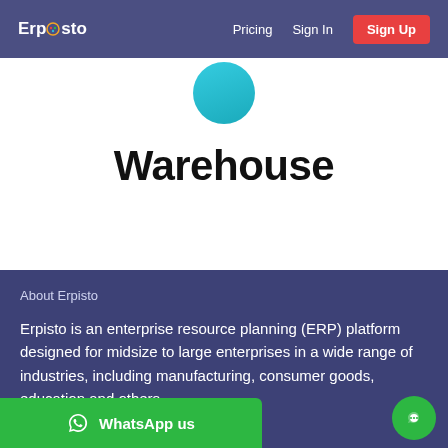Erpisto | Pricing | Sign In | Sign Up
[Figure (logo): Teal semicircle icon at top center of white hero section]
Warehouse
About Erpisto
Erpisto is an enterprise resource planning (ERP) platform designed for midsize to large enterprises in a wide range of industries, including manufacturing, consumer goods, education and others.